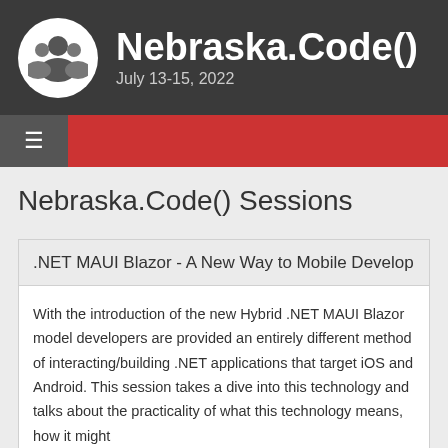Nebraska.Code() July 13-15, 2022
Nebraska.Code() Sessions
.NET MAUI Blazor - A New Way to Mobile Develop
With the introduction of the new Hybrid .NET MAUI Blazor model developers are provided an entirely different method of interacting/building .NET applications that target iOS and Android. This session takes a dive into this technology and talks about the practicality of what this technology means, how it might